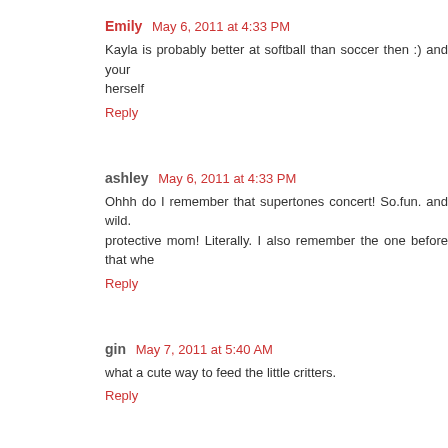Emily  May 6, 2011 at 4:33 PM
Kayla is probably better at softball than soccer then :) and your herself
Reply
ashley  May 6, 2011 at 4:33 PM
Ohhh do I remember that supertones concert! So.fun. and wild. protective mom! Literally. I also remember the one before that whe
Reply
gin  May 7, 2011 at 5:40 AM
what a cute way to feed the little critters.
Reply
denise@victory rd.  May 9, 2011 at 2:18 AM
first, tell me are these pix from your phone or camera? i so want t instagram app club only.
Reply